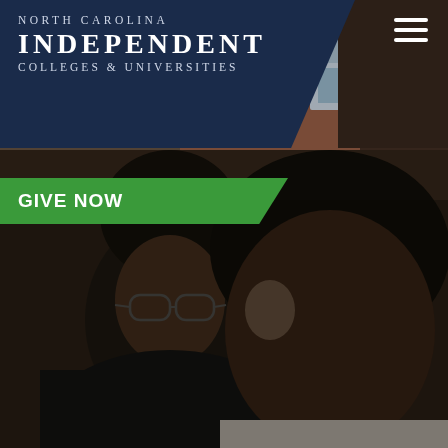[Figure (photo): North Carolina Independent Colleges and Universities website header screenshot showing two young Black male students outdoors near a brick building. One student wears glasses and a dark shirt; another in a white shirt looks down. The NCICU logo appears in the top-left navy bar, a hamburger menu icon in the top-right, and a green 'GIVE NOW' button overlays the image.]
North Carolina Independent Colleges & Universities
GIVE NOW